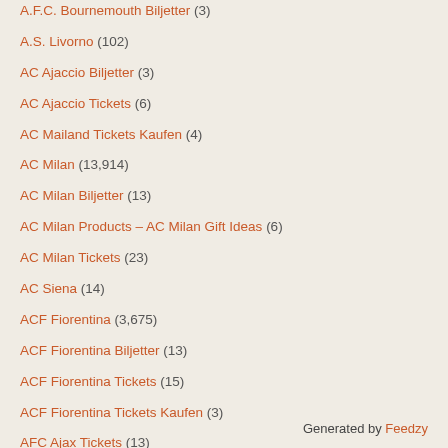A.F.C. Bournemouth Biljetter (3)
A.S. Livorno (102)
AC Ajaccio Biljetter (3)
AC Ajaccio Tickets (6)
AC Mailand Tickets Kaufen (4)
AC Milan (13,914)
AC Milan Biljetter (13)
AC Milan Products – AC Milan Gift Ideas (6)
AC Milan Tickets (23)
AC Siena (14)
ACF Fiorentina (3,675)
ACF Fiorentina Biljetter (13)
ACF Fiorentina Tickets (15)
ACF Fiorentina Tickets Kaufen (3)
AFC Ajax Tickets (13)
Generated by Feedzy